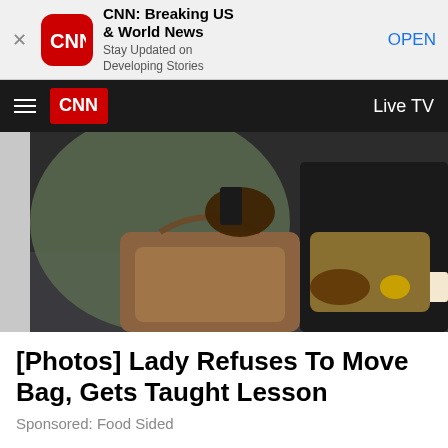[Figure (screenshot): App store banner for CNN Breaking US & World News app with close button, CNN icon, title, subtitle 'Stay Updated on Developing Stories', and OPEN button]
[Figure (screenshot): CNN mobile navigation bar with hamburger menu, CNN logo in red, and 'Live TV' text on dark background]
[Figure (photo): Photo of people sitting on subway/train, showing bags on laps and hands holding items]
[Photos] Lady Refuses To Move Bag, Gets Taught Lesson
Sponsored: Food Sided